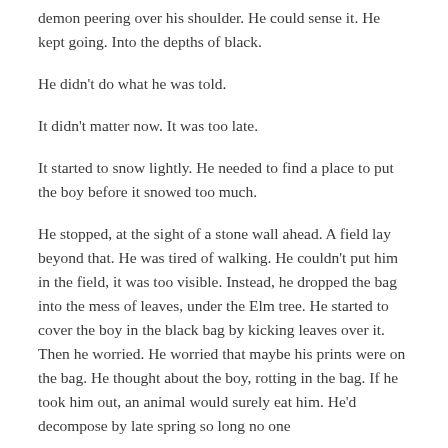demon peering over his shoulder. He could sense it. He kept going. Into the depths of black.
He didn't do what he was told.
It didn't matter now. It was too late.
It started to snow lightly. He needed to find a place to put the boy before it snowed too much.
He stopped, at the sight of a stone wall ahead. A field lay beyond that. He was tired of walking. He couldn't put him in the field, it was too visible. Instead, he dropped the bag into the mess of leaves, under the Elm tree. He started to cover the boy in the black bag by kicking leaves over it. Then he worried. He worried that maybe his prints were on the bag. He thought about the boy, rotting in the bag. If he took him out, an animal would surely eat him. He'd decompose by late spring so long no one